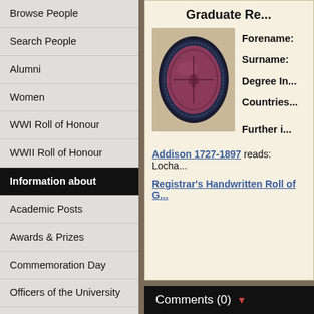Browse People
Search People
Alumni
Women
WWI Roll of Honour
WWII Roll of Honour
Information about
Academic Posts
Awards & Prizes
Commemoration Day
Officers of the University
The Coat of Arms
The Memorial Gates
The Papal Bull
Images
Graduate Re...
[Figure (photo): University wax seal, oval shaped, dark navy border with red/maroon center bearing a religious or heraldic figure]
Forename:
Surname:
Degree In...:
Countries...:
Further i...
Addison 1727-1897 reads: Locha...
Registrar's Handwritten Roll of G...
Comments (0)